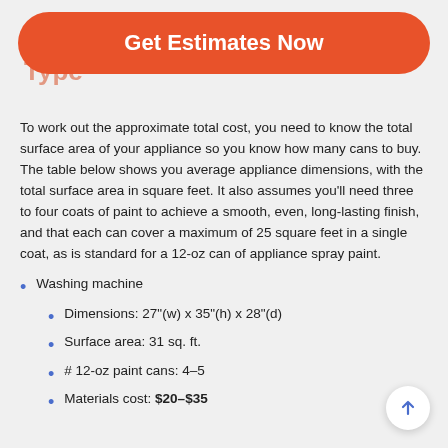Appliance Refinishing Cost by Type
To work out the approximate total cost, you need to know the total surface area of your appliance so you know how many cans to buy. The table below shows you average appliance dimensions, with the total surface area in square feet. It also assumes you'll need three to four coats of paint to achieve a smooth, even, long-lasting finish, and that each can cover a maximum of 25 square feet in a single coat, as is standard for a 12-oz can of appliance spray paint.
Washing machine
Dimensions: 27"(w) x 35"(h) x 28"(d)
Surface area: 31 sq. ft.
# 12-oz paint cans: 4–5
Materials cost: $20–$35